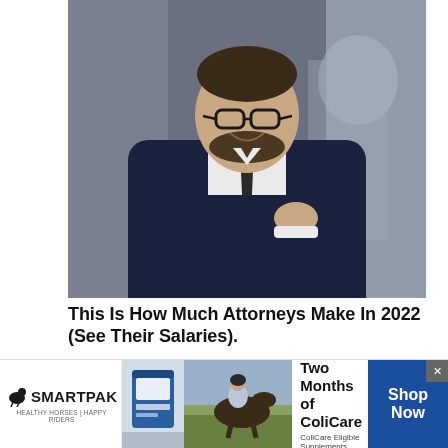[Figure (photo): Professional man in dark suit with arms crossed, smiling at camera, wearing glasses, with blurred office background]
This Is How Much Attorneys Make In 2022 (See Their Salaries).
Attorneys | Search Ads
[Figure (photo): Partial image of person at desk, second article thumbnail]
[Figure (advertisement): SmartPak advertisement: 50% Off Two Months of ColiCare. ColiCare Eligible Supplements CODE: COLICARE10. Shop Now button.]